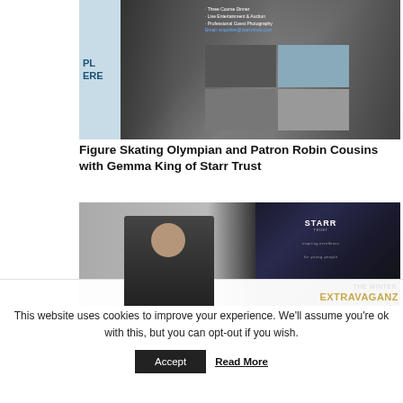[Figure (photo): Two people standing in front of a banner/display stand showing charity event photos. One person holds a white folder/document. The banner shows event photography and contact information.]
Figure Skating Olympian and Patron Robin Cousins with Gemma King of Starr Trust
[Figure (photo): A man standing in front of a Starr Trust 'The Winter Extravaganza' promotional banner in an indoor venue.]
This website uses cookies to improve your experience. We'll assume you're ok with this, but you can opt-out if you wish.
Accept
Read More